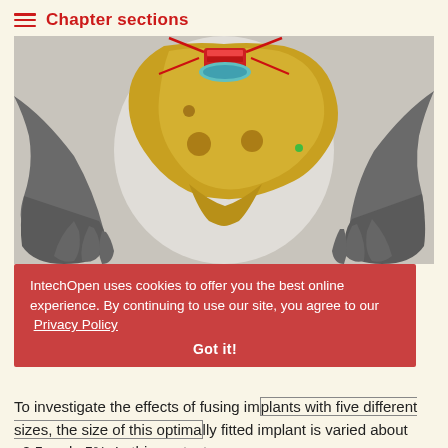Chapter sections
[Figure (illustration): 3D rendered medical image showing a human pelvis (shown in yellow/gold) with an implant visible at the top in red and cyan, flanked by two gray-rendered human hands/arms on either side, with a light background.]
Figure 2.
IntechOpen uses cookies to offer you the best online experience. By continuing to use our site, you agree to our Privacy Policy
Got it!
To investigate the effects of fusing implants with five different sizes, the size of this optimally fitted implant is varied about ±2.5 and ±5%. In this context,